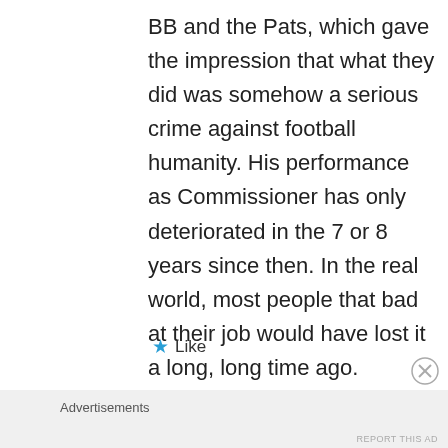BB and the Pats, which gave the impression that what they did was somehow a serious crime against football humanity. His performance as Commissioner has only deteriorated in the 7 or 8 years since then. In the real world, most people that bad at their job would have lost it a long, long time ago.
★ Like
Advertisements
REPORT THIS AD